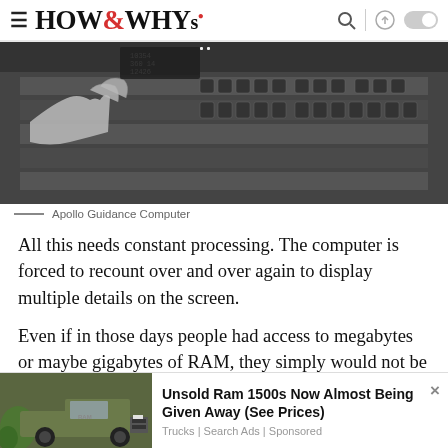HOW&WHYs
[Figure (photo): Black and white photograph of a person's hand pointing at the Apollo Guidance Computer control panel with many switches and buttons]
Apollo Guidance Computer
All this needs constant processing. The computer is forced to recount over and over again to display multiple details on the screen.
Even if in those days people had access to megabytes or maybe gigabytes of RAM, they simply would not be
[Figure (photo): Advertisement showing a dark green Ram 1500 truck with text: Unsold Ram 1500s Now Almost Being Given Away (See Prices) — Trucks | Search Ads | Sponsored]